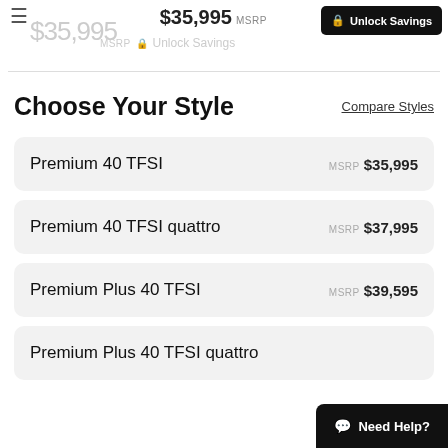$35,995 MSRP  Unlock Savings
Choose Your Style
Compare Styles
Premium 40 TFSI  MSRP $35,995
Premium 40 TFSI quattro  MSRP $37,995
Premium Plus 40 TFSI  MSRP $39,595
Premium Plus 40 TFSI quattro
Need Help?